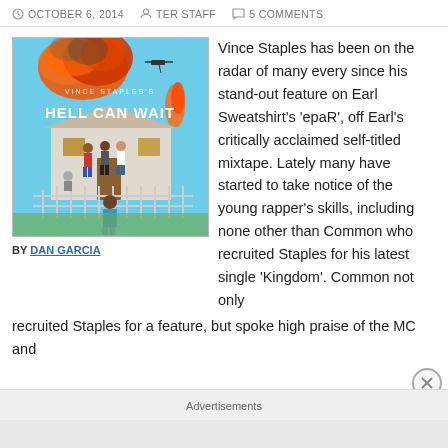OCTOBER 6, 2014  TER STAFF  5 COMMENTS
[Figure (illustration): Album cover art for Vince Staples 'Hell Can Wait' — shows a house on fire with people on the porch and a child in blue shirt in foreground]
BY DAN GARCIA
Vince Staples has been on the radar of many every since his stand-out feature on Earl Sweatshirt's 'epaR', off Earl's critically acclaimed self-titled mixtape. Lately many have started to take notice of the young rapper's skills, including none other than Common who recruited Staples for his latest single 'Kingdom'. Common not only recruited Staples for a feature, but spoke high praise of the MC and
Advertisements